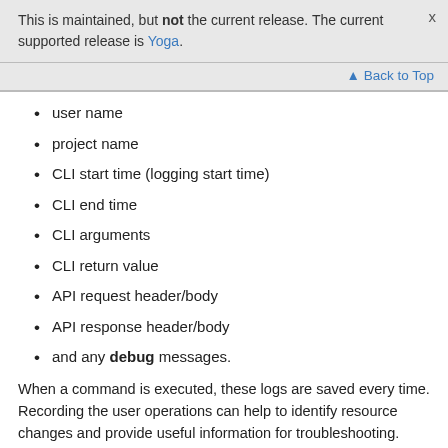This is maintained, but not the current release. The current supported release is Yoga.
▲ Back to Top
user name
project name
CLI start time (logging start time)
CLI end time
CLI arguments
CLI return value
API request header/body
API response header/body
and any debug messages.
When a command is executed, these logs are saved every time. Recording the user operations can help to identify resource changes and provide useful information for troubleshooting.
If you view the contents of a single user you can then also filter using